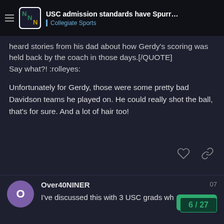USC admission standards have Spurrier ... | Collegiate Sports
heard stories from his dad about how Gerdy's scoring was held back by the coach in those days.[/QUOTE]
Say what?! :rolleyes:
Unfortunately for Gerdy, those were some pretty bad Davidson teams he played on. He could really shot the ball, that's for sure. And a lot of hair too!
Over40NINER
I've discussed this with 3 USC grads wh...